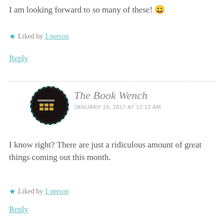I am looking forward to so many of these! 😀
★ Liked by 1 person
Reply
The Book Wench
JANUARY 19, 2017 AT 12:12 AM
I know right? There are just a ridiculous amount of great things coming out this month.
★ Liked by 1 person
Reply